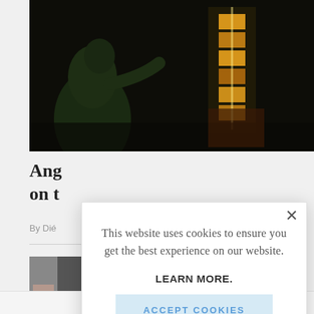[Figure (photo): Dark scene showing a figure/creature on the left side with glowing orange/yellow stacked objects on the right side against a dark background]
Ang
on t
By Dié
[Figure (photo): Thumbnail image partially visible on lower left]
This website uses cookies to ensure you get the best experience on our website.

LEARN MORE.

ACCEPT COOKIES